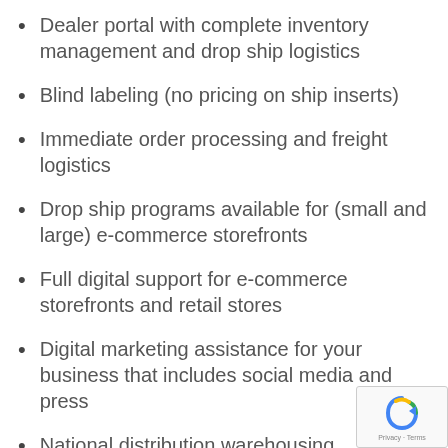Dealer portal with complete inventory management and drop ship logistics
Blind labeling (no pricing on ship inserts)
Immediate order processing and freight logistics
Drop ship programs available for (small and large) e-commerce storefronts
Full digital support for e-commerce storefronts and retail stores
Digital marketing assistance for your business that includes social media and press
National distribution warehousing
Dealer lead program with zip code search from FloodSax® website